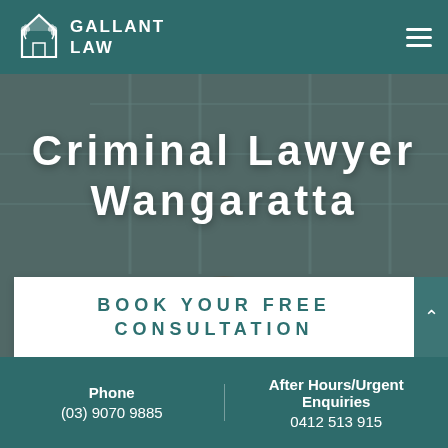[Figure (logo): Gallant Law logo: white emblem of a house with wheat/leaf motif and bold white text 'GALLANT LAW' on teal background]
Criminal Lawyer Wangaratta
BOOK YOUR FREE CONSULTATION
Phone
(03) 9070 9885
After Hours/Urgent Enquiries
0412 513 915